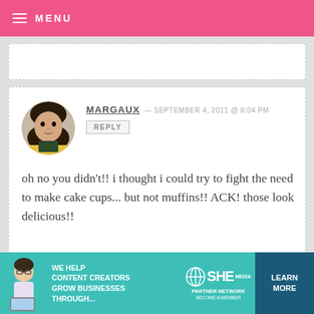MENU
MARGAUX — SEPTEMBER 4, 2011 @ 8:04 PM
REPLY
oh no you didn't!! i thought i could try to fight the need to make cake cups... but not muffins!! ACK! those look delicious!!
LILY — SEPTEMBER 4, 2011 @ 2:59 PM
REPLY
[Figure (infographic): SHE partner network advertisement banner with teal background, figure of woman with laptop, text: WE HELP CONTENT CREATORS GROW BUSINESSES THROUGH..., SHE PARTNER NETWORK BECOME A MEMBER, LEARN MORE button]